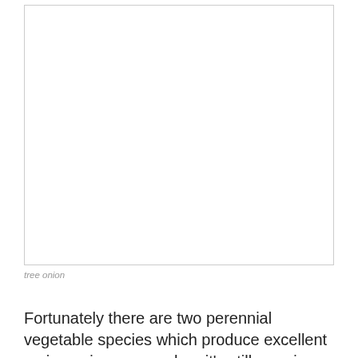[Figure (photo): A photograph of a tree onion plant (blank/white image visible in document)]
tree onion
Fortunately there are two perennial vegetable species which produce excellent spring onions even when it's still snowing